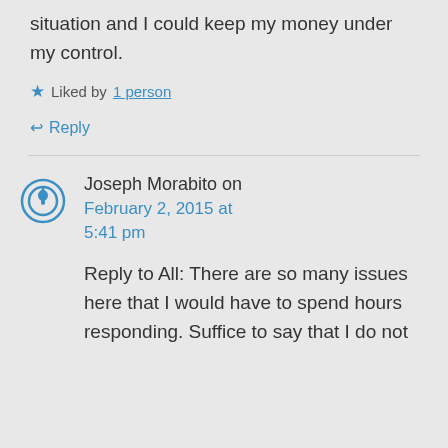situation and I could keep my money under my control.
Liked by 1 person
Reply
Joseph Morabito on February 2, 2015 at 5:41 pm
Reply to All: There are so many issues here that I would have to spend hours responding. Suffice to say that I do not